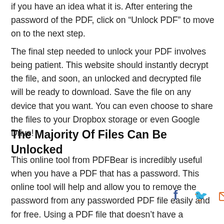if you have an idea what it is. After entering the password of the PDF, click on “Unlock PDF” to move on to the next step.
The final step needed to unlock your PDF involves being patient. This website should instantly decrypt the file, and soon, an unlocked and decrypted file will be ready to download. Save the file on any device that you want. You can even choose to share the files to your Dropbox storage or even Google Drive!
The Majority Of Files Can Be Unlocked
This online tool from PDFBear is incredibly useful when you have a PDF that has a password. This online tool will help and allow you to remove the password from any passworded PDF file easily and for free. Using a PDF file that doesn’t have a password o to view and access the file any DFBear, it’ll only